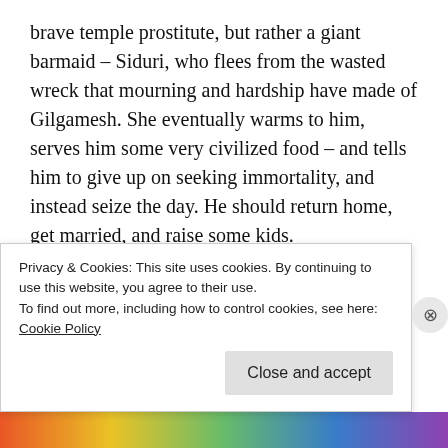brave temple prostitute, but rather a giant barmaid – Siduri, who flees from the wasted wreck that mourning and hardship have made of Gilgamesh. She eventually warms to him, serves him some very civilized food – and tells him to give up on seeking immortality, and instead seize the day. He should return home, get married, and raise some kids.
Unlike Enkidu, Gilgamesh doesn't need the comfort of women to civilize him, but rather
Privacy & Cookies: This site uses cookies. By continuing to use this website, you agree to their use.
To find out more, including how to control cookies, see here:
Cookie Policy
Close and accept